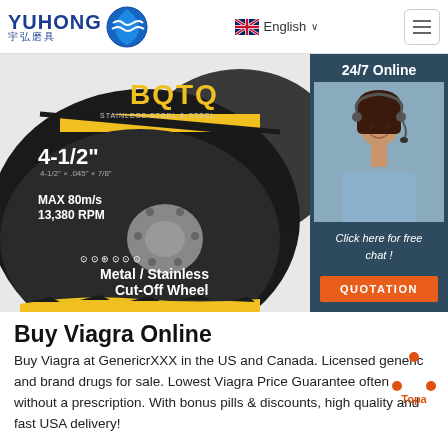[Figure (logo): Yuhong logo with blue wave globe icon and Chinese characters 宇弘磨具]
[Figure (screenshot): Website header with language selector showing UK flag and English dropdown, and hamburger menu button]
[Figure (photo): BQTQ Metal/Stainless Cut-Off Wheel product photo, 4-1/2 inch, MAX 80m/s 13,380 RPM, with customer service agent sidebar showing 24/7 Online, Click here for free chat, and QUOTATION button]
Buy Viagra Online
Buy Viagra at GenericrXXX in the US and Canada. Licensed generic and brand drugs for sale. Lowest Viagra Price Guarantee often without a prescription. With bonus pills & discounts, high quality and fast USA delivery!
[Figure (logo): Topa watermark logo bottom right]